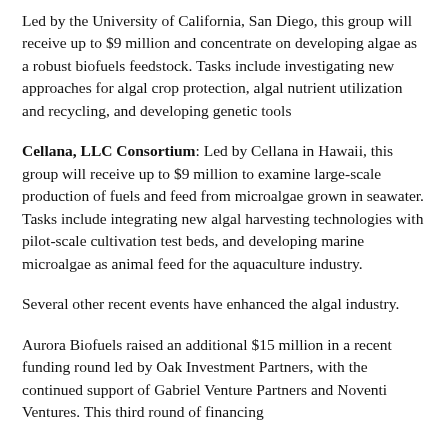Led by the University of California, San Diego, this group will receive up to $9 million and concentrate on developing algae as a robust biofuels feedstock. Tasks include investigating new approaches for algal crop protection, algal nutrient utilization and recycling, and developing genetic tools
Cellana, LLC Consortium: Led by Cellana in Hawaii, this group will receive up to $9 million to examine large-scale production of fuels and feed from microalgae grown in seawater. Tasks include integrating new algal harvesting technologies with pilot-scale cultivation test beds, and developing marine microalgae as animal feed for the aquaculture industry.
Several other recent events have enhanced the algal industry.
Aurora Biofuels raised an additional $15 million in a recent funding round led by Oak Investment Partners, with the continued support of Gabriel Venture Partners and Noventi Ventures. This third round of financing...